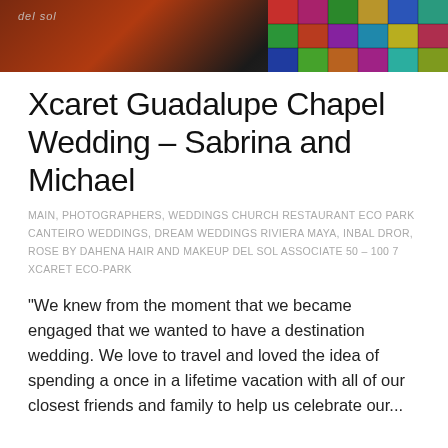[Figure (photo): Top banner showing a wedding/event photo with colorful grid lighting on the right and dark warm-toned background on the left, with a small 'del sol' logo watermark in the upper left]
Xcaret Guadalupe Chapel Wedding – Sabrina and Michael
MAIN, PHOTOGRAPHERS, WEDDINGS CHURCH RESTAURANT ECO PARK CANTEIRO WEDDINGS, DREAM WEDDINGS RIVIERA MAYA, INBAL DROR, ROSE BY DAHENA HAIR AND MAKEUP DEL SOL ASSOCIATE 50 – 100 7 XCARET ECO-PARK
"We knew from the moment that we became engaged that we wanted to have a destination wedding. We love to travel and loved the idea of spending a once in a lifetime vacation with all of our closest friends and family to help us celebrate our...